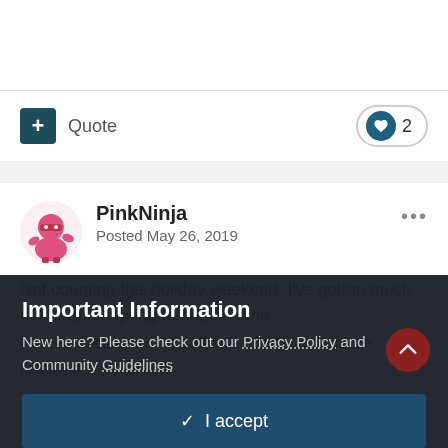[Figure (illustration): Pink ninja avatar icon — small pink cartoon ninja character]
PinkNinja
Posted May 26, 2019
Not counting this holiday weekend, I've gotten much better about going to bed on time.
I've stopped drinking caffeine after 5, and have reduced my caffeine
Important Information
New here? Please check out our Privacy Policy and Community Guidelines
✔  I accept